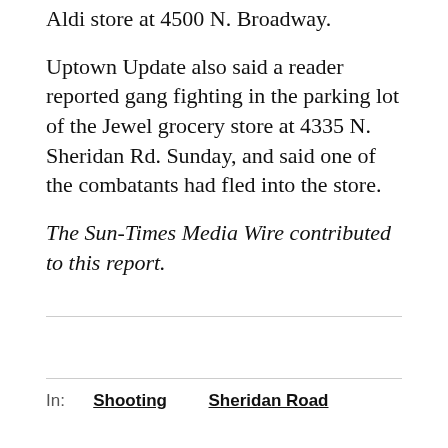Aldi store at 4500 N. Broadway.
Uptown Update also said a reader reported gang fighting in the parking lot of the Jewel grocery store at 4335 N. Sheridan Rd. Sunday, and said one of the combatants had fled into the store.
The Sun-Times Media Wire contributed to this report.
In: Shooting Sheridan Road